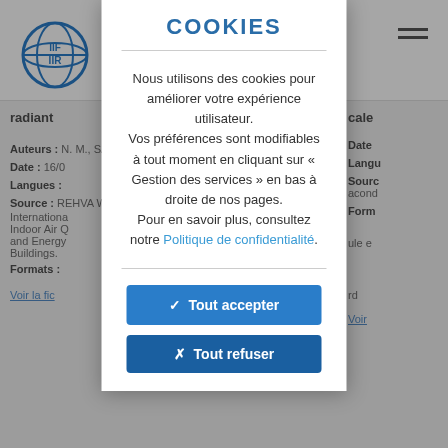[Figure (screenshot): IIF/IIR website background page showing article metadata partially visible behind a cookie consent modal overlay]
COOKIES
Nous utilisons des cookies pour améliorer votre expérience utilisateur.
Vos préférences sont modifiables à tout moment en cliquant sur « Gestion des services » en bas à droite de nos pages.
Pour en savoir plus, consultez notre Politique de confidentialité.
✓ Tout accepter
✗ Tout refuser